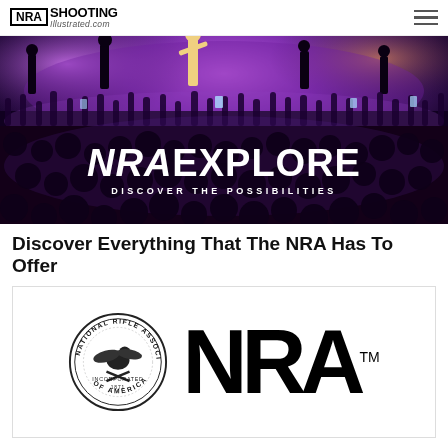NRA Shooting Illustrated .com
[Figure (photo): Concert crowd with raised hands under purple stage lighting, with text overlay: NRAEXPLORE — DISCOVER THE POSSIBILITIES]
Discover Everything That The NRA Has To Offer
[Figure (logo): NRA (National Rifle Association of America, Incorporated 1871) circular seal logo alongside bold NRA wordmark with TM symbol]